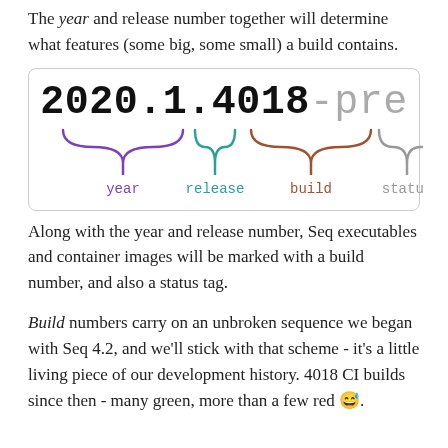The year and release number together will determine what features (some big, some small) a build contains.
[Figure (infographic): Version number diagram showing '2020.1.4018-pre' with curly braces and labels for 'year' (purple), 'release' (teal), 'build' (brown/red), and 'status' (gray)]
Along with the year and release number, Seq executables and container images will be marked with a build number, and also a status tag.
Build numbers carry on an unbroken sequence we began with Seq 4.2, and we'll stick with that scheme - it's a little living piece of our development history. 4018 CI builds since then - many green, more than a few red 😅.